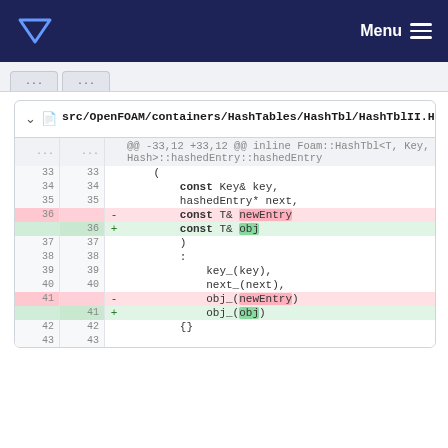Menu
[Figure (screenshot): Navigation bar with triangle logo and Menu button on dark navy background]
src/OpenFOAM/containers/HashTables/HashTbl/HashTblII.H
@@ -33,12 +33,12 @@ inline Foam::HashTbl<T, Key, Hash>::hashedEntry::hashedEntry
| old ln | new ln | diff | code |
| --- | --- | --- | --- |
| 33 | 33 |  | ( |
| 34 | 34 |  |     const Key& key, |
| 35 | 35 |  |     hashedEntry* next, |
| 36 |  | - |     const T& newEntry |
|  | 36 | + |     const T& obj |
| 37 | 37 |  |     ) |
| 38 | 38 |  |     : |
| 39 | 39 |  |         key_(key), |
| 40 | 40 |  |         next_(next), |
| 41 |  | - |         obj_(newEntry) |
|  | 41 | + |         obj_(obj) |
| 42 | 42 |  |         {} |
| 43 | 43 |  |  |